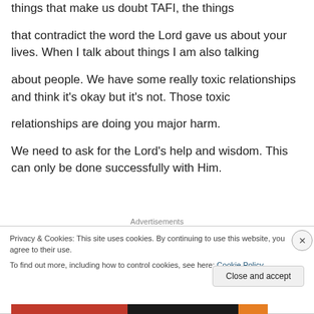things that make us doubt TAFI, the things that contradict the word the Lord gave us about your lives. When I talk about things I am also talking about people. We have some really toxic relationships and think it's okay but it's not. Those toxic relationships are doing you major harm.
We need to ask for the Lord's help and wisdom. This can only be done successfully with Him.
Advertisements
Privacy & Cookies: This site uses cookies. By continuing to use this website, you agree to their use.
To find out more, including how to control cookies, see here: Cookie Policy
Close and accept